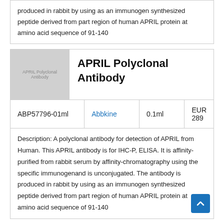produced in rabbit by using as an immunogen synthesized peptide derived from part region of human APRIL protein at amino acid sequence of 91-140
APRIL Polyclonal Antibody
[Figure (other): Product image placeholder showing 'APRIL Polyclonal Antibody' text on grey background]
| ABP57796-01ml | Abbkine | 0.1ml | EUR 289 |
| --- | --- | --- | --- |
Description: A polyclonal antibody for detection of APRIL from Human. This APRIL antibody is for IHC-P, ELISA. It is affinity-purified from rabbit serum by affinity-chromatography using the specific immunogenand is unconjugated. The antibody is produced in rabbit by using as an immunogen synthesized peptide derived from part region of human APRIL protein at amino acid sequence of 91-140